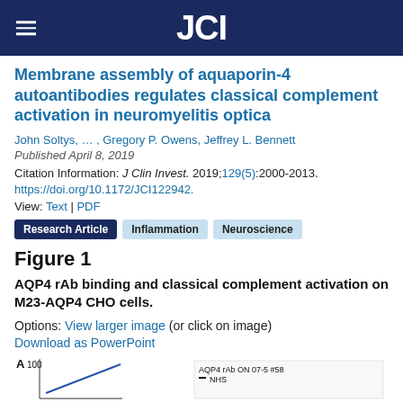JCI
Membrane assembly of aquaporin-4 autoantibodies regulates classical complement activation in neuromyelitis optica
John Soltys, … , Gregory P. Owens, Jeffrey L. Bennett
Published April 8, 2019
Citation Information: J Clin Invest. 2019;129(5):2000-2013.
https://doi.org/10.1172/JCI122942.
View: Text | PDF
Research Article   Inflammation   Neuroscience
Figure 1
AQP4 rAb binding and classical complement activation on M23-AQP4 CHO cells.
Options: View larger image (or click on image)
Download as PowerPoint
[Figure (other): Partial view of a scientific figure panel A showing a line chart with y-axis labeled '100' and legend entries for AQP4 rAb ON 07-5 #58 and NHS]